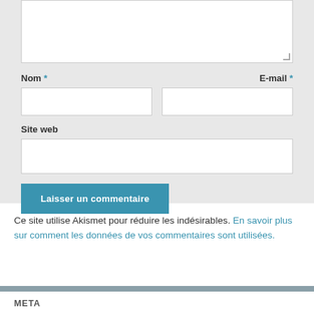[Figure (screenshot): Web form with textarea (partially visible at top), Nom and E-mail fields side by side, Site web field, and a submit button labeled 'Laisser un commentaire' on a light grey background.]
Nom *
E-mail *
Site web
Laisser un commentaire
Ce site utilise Akismet pour réduire les indésirables. En savoir plus sur comment les données de vos commentaires sont utilisées.
META